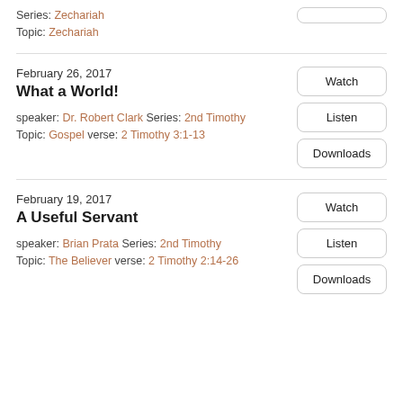Series: Zechariah
Topic: Zechariah
February 26, 2017
What a World!
speaker: Dr. Robert Clark Series: 2nd Timothy
Topic: Gospel verse: 2 Timothy 3:1-13
February 19, 2017
A Useful Servant
speaker: Brian Prata Series: 2nd Timothy
Topic: The Believer verse: 2 Timothy 2:14-26